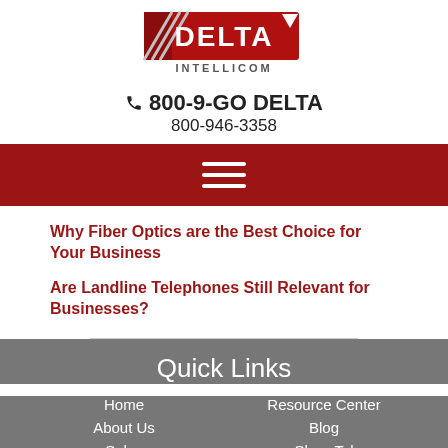[Figure (logo): Delta IntelliCom logo with red DELTA text and triangle, grey INTELLICOM text underneath]
800-9-GO DELTA
800-946-3358
[Figure (other): Red navigation bar with white hamburger menu icon (three horizontal lines)]
Why Fiber Optics are the Best Choice for Your Business
Are Landline Telephones Still Relevant for Businesses?
Quick Links
Home
About Us
Sales
Service
Contact Us
Resource Center
Blog
ShoreTel
Avaya
Avaya IP Office